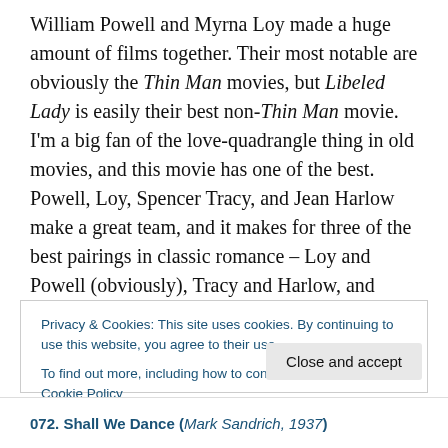William Powell and Myrna Loy made a huge amount of films together. Their most notable are obviously the Thin Man movies, but Libeled Lady is easily their best non-Thin Man movie. I'm a big fan of the love-quadrangle thing in old movies, and this movie has one of the best. Powell, Loy, Spencer Tracy, and Jean Harlow make a great team, and it makes for three of the best pairings in classic romance – Loy and Powell (obviously), Tracy and Harlow, and Harlow and Powell. I think Harlow's performance is particularly impressive because she spends a good
Privacy & Cookies: This site uses cookies. By continuing to use this website, you agree to their use.
To find out more, including how to control cookies, see here: Cookie Policy
Close and accept
072. Shall We Dance (Mark Sandrich, 1937)